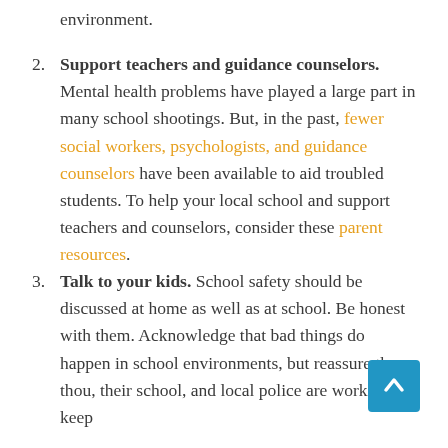environment.
2. Support teachers and guidance counselors. Mental health problems have played a large part in many school shootings. But, in the past, fewer social workers, psychologists, and guidance counselors have been available to aid troubled students. To help your local school and support teachers and counselors, consider these parent resources.
3. Talk to your kids. School safety should be discussed at home as well as at school. Be honest with them. Acknowledge that bad things do happen in school environments, but reassure them that you, their school, and local police are working to keep